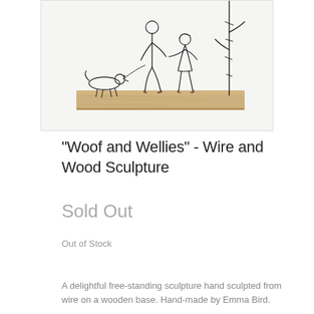[Figure (photo): Wire and wood sculpture showing two people holding hands while walking a dog on a wooden base, with a tree silhouette on the right. Wire figures on a natural wood plank base.]
"Woof and Wellies" - Wire and Wood Sculpture
Sold Out
Out of Stock
A delightful free-standing sculpture hand sculpted from wire on a wooden base. Hand-made by Emma Bird.